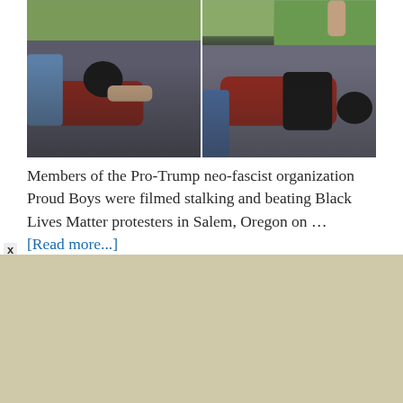[Figure (photo): Two side-by-side video stills showing a person in a red and black shirt lying on the ground being confronted by others, with green bushes and grass in the background.]
Members of the Pro-Trump neo-fascist organization Proud Boys were filmed stalking and beating Black Lives Matter protesters in Salem, Oregon on … [Read more...]